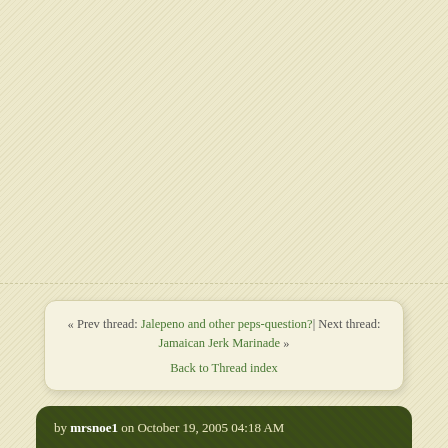« Prev thread: Jalepeno and other peps-question?| Next thread: Jamaican Jerk Marinade » Back to Thread index
by mrsnoe1 on October 19, 2005 04:18 AM